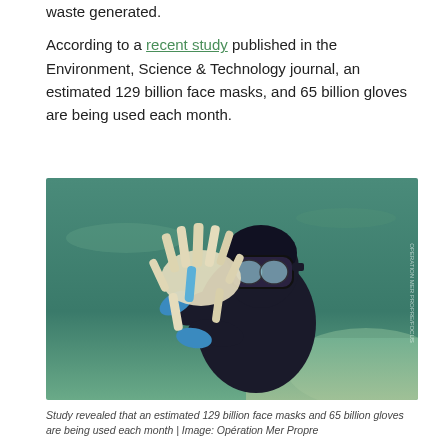waste generated.

According to a recent study published in the Environment, Science & Technology journal, an estimated 129 billion face masks, and 65 billion gloves are being used each month.
[Figure (photo): An underwater photo of a diver in a black wetsuit and diving mask holding a large bundle of discarded rubber gloves underwater, with sandy seafloor visible in the background.]
Study revealed that an estimated 129 billion face masks and 65 billion gloves are being used each month | Image: Opération Mer Propre